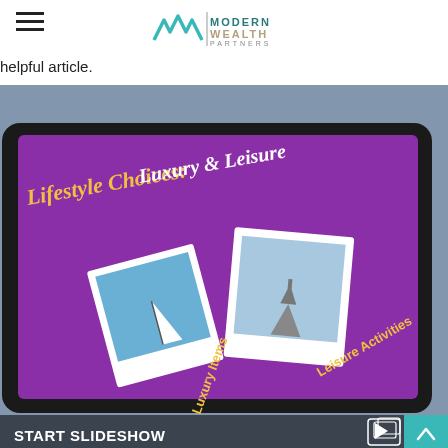Modern Wealth Partners
helpful article.
[Figure (photo): A person holding a tablet displaying a purple slideshow screen titled 'Lifestyle Choices: Luxury & Leisure' with polaroid-style photos of a sailboat and the Eiffel Tower, and text labels 'Leisure Activities' and 'Luxury Items'. A 'START SLIDESHOW' label appears at the bottom of the image.]